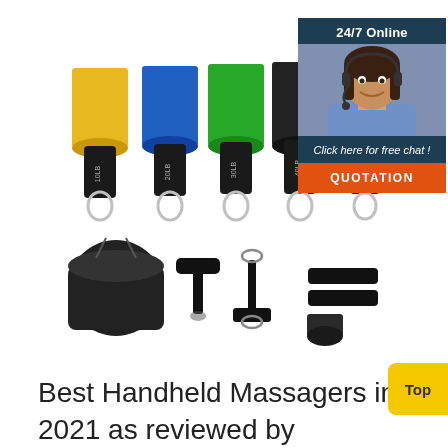[Figure (photo): Product photo showing resistance bands in multiple colors (yellow 10LB, blue 20LB, green 30LB, black 40LB, red 50LB) with carabiners, plus accessories: black drawstring bag, handles, ankle strap, and door anchor. Overlaid with a customer service chat widget showing '24/7 Online', agent photo, 'Click here for free chat!' text, and orange QUOTATION button. Yellow 'Top' button at bottom right.]
Best Handheld Massagers in 2021 as reviewed by